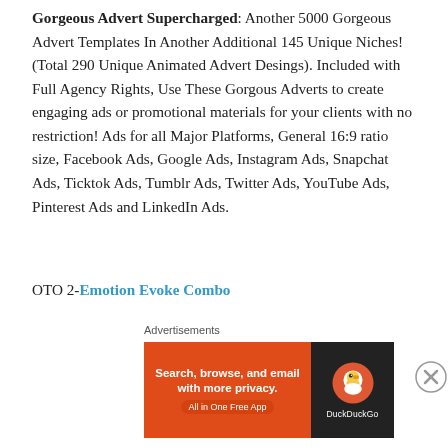Gorgeous Advert Supercharged. Another 5000 Gorgeous Advert Templates In Another Additional 145 Unique Niches! (Total 290 Unique Animated Advert Desings). Included with Full Agency Rights, Use These Gorgous Adverts to create engaging ads or promotional materials for your clients with no restriction! Ads for all Major Platforms, General 16:9 ratio size, Facebook Ads, Google Ads, Instagram Ads, Snapchat Ads, Ticktok Ads, Tumblr Ads, Twitter Ads, YouTube Ads, Pinterest Ads and LinkedIn Ads.
OTO 2-Emotion Evoke Combo
Emotion Evoke Combo. Introducing Emotion Evoke, a
world's first and currently only unique cloud library of top-
[Figure (other): DuckDuckGo advertisement banner: orange left panel with text 'Search, browse, and email with more privacy. All in One Free App' and dark right panel with DuckDuckGo logo and brand name. Labeled 'Advertisements' above.]